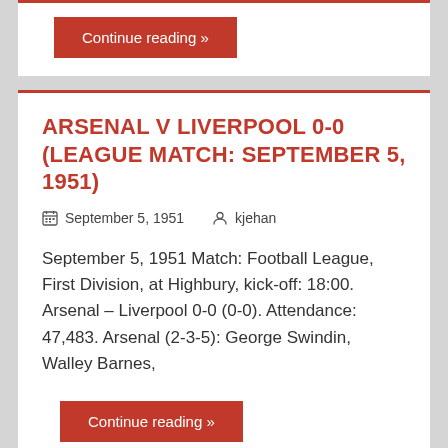Continue reading »
ARSENAL V LIVERPOOL 0-0 (LEAGUE MATCH: SEPTEMBER 5, 1951)
September 5, 1951   kjehan
September 5, 1951 Match: Football League, First Division, at Highbury, kick-off: 18:00. Arsenal – Liverpool 0-0 (0-0). Attendance: 47,483. Arsenal (2-3-5): George Swindin, Walley Barnes,
Continue reading »